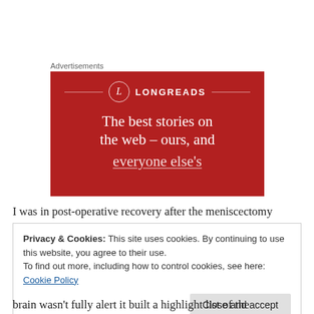Advertisements
[Figure (illustration): Longreads advertisement banner with red background, circular logo with 'L', brand name 'LONGREADS', and tagline 'The best stories on the web – ours, and everyone else's']
I was in post-operative recovery after the meniscectomy
Privacy & Cookies: This site uses cookies. By continuing to use this website, you agree to their use.
To find out more, including how to control cookies, see here: Cookie Policy
[Close and accept]
brain wasn't fully alert it built a highlight list of the